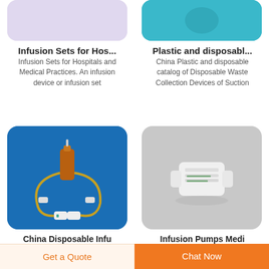[Figure (photo): Partial product image cropped at top, light purple/lavender background with rounded corners]
[Figure (photo): Partial product image cropped at top, teal/cyan background with rounded corners]
Infusion Sets for Hos...
Infusion Sets for Hospitals and Medical Practices. An infusion device or infusion set
Plastic and disposabl...
China Plastic and disposable catalog of Disposable Waste Collection Devices of Suction
[Figure (photo): Medical infusion set with amber/brown glass vial, yellow tubing, and white connectors on blue background]
[Figure (photo): White cylindrical medical connector/coupling device on gray background]
China Disposable Infu
Infusion Pumps Medi
Get a Quote
Chat Now